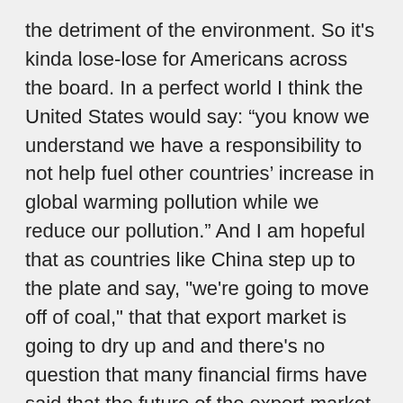the detriment of the environment. So it's kinda lose-lose for Americans across the board. In a perfect world I think the United States would say: “you know we understand we have a responsibility to not help fuel other countries’ increase in global warming pollution while we reduce our pollution.” And I am hopeful that as countries like China step up to the plate and say, "we're going to move off of coal," that that export market is going to dry up and and there's no question that many financial firms have said that the future of the export market is not bright.
CURWOOD: What about India? It seems to be a place that more and more coal plants are going up as China is saying that it has hit its peak emissions of coal burning.
ROMM: Yeah, it's a very good question. India looks at China and sees that China a country that has developed